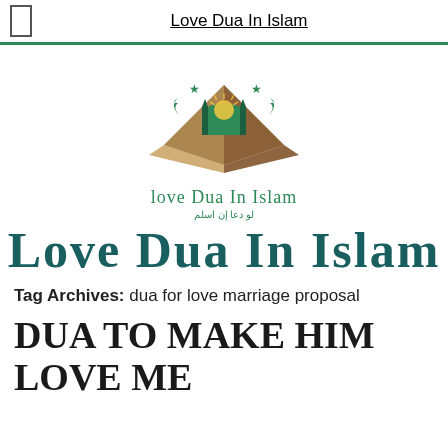Love Dua In Islam
[Figure (logo): Love Dua In Islam logo with mosque, crescent moons, stars, open book, and stylized text in green and gold]
Love Dua In Islam
Tag Archives: dua for love marriage proposal
DUA TO MAKE HIM LOVE ME